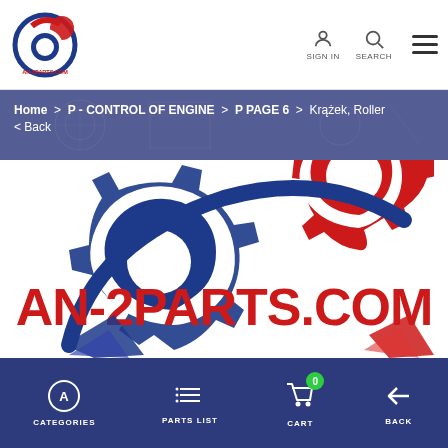AN-2PARTS.COM — Header with logo, SIGN IN, SEARCH, menu
Home > P - CONTROL OF ENGINE > P PAGE 6 > Krążek, Roller
< Back
[Figure (logo): AN-2PARTS.COM large logo with interlocking blue and red gear/cog design and bold red and blue text AN-2PARTS.COM]
CATEGORIES | PARTS LIST | CART (0) | BACK